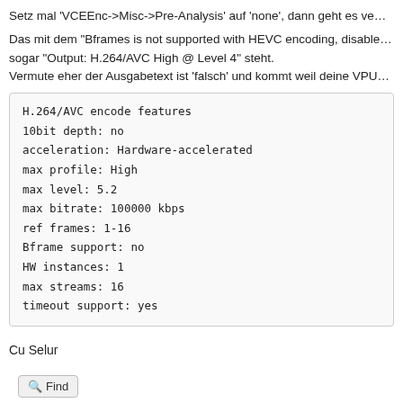Setz mal 'VCEEnc->Misc->Pre-Analysis' auf 'none', dann geht es ve...
Das mit dem "Bframes is not supported with HEVC encoding, disable... sogar "Output: H.264/AVC High @ Level 4" steht.
Vermute eher der Ausgabetext ist 'falsch' und kommt weil deine VPU...
H.264/AVC encode features
10bit depth:    no
acceleration:    Hardware-accelerated
max profile:    High
max level:       5.2
max bitrate:    100000 kbps
ref frames:      1-16
Bframe support: no
HW instances:    1
max streams:    16
timeout support: yes
Cu Selur
Find
rabiato